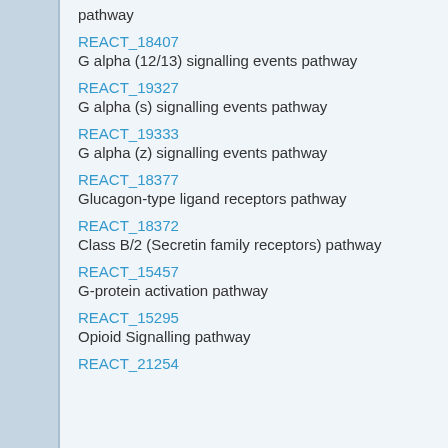pathway
REACT_18407
G alpha (12/13) signalling events pathway
REACT_19327
G alpha (s) signalling events pathway
REACT_19333
G alpha (z) signalling events pathway
REACT_18377
Glucagon-type ligand receptors pathway
REACT_18372
Class B/2 (Secretin family receptors) pathway
REACT_15457
G-protein activation pathway
REACT_15295
Opioid Signalling pathway
REACT_21254